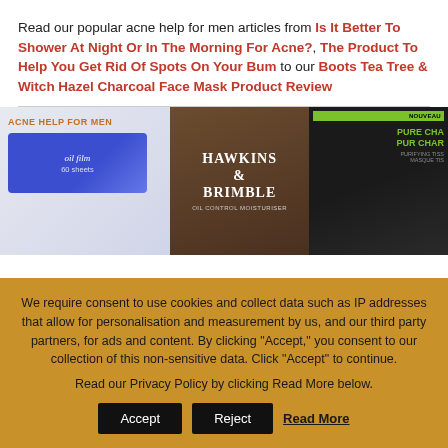Read our popular acne help for men articles from Is It Better To Shower At Night Or In The Morning For Acne?, The Product To Help You Get Rid Of Spots On Your Bum to our Boots Tea Tree & Witch Hazel Charcoal Face Mask Product Review
[Figure (photo): Three product images side by side: left shows 'ACNE HELP FOR MEN' label with blue oil film package (60 sheets), middle shows Hawkins & Brimble men's moisturiser in brown packaging, right shows a Pure Charcoal purifying tissue mask in black/green packaging]
We require consent to use cookies and collect data such as IP addresses that allow for personalisation and measurement by us, and our third party partners, for ads and content. By clicking "Accept," you consent to our collection of this non-sensitive data. Click "Accept" to continue.
Read our Privacy Policy by clicking Read More below.